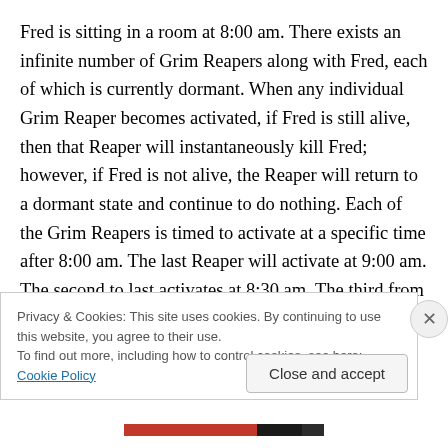Fred is sitting in a room at 8:00 am. There exists an infinite number of Grim Reapers along with Fred, each of which is currently dormant. When any individual Grim Reaper becomes activated, if Fred is still alive, then that Reaper will instantaneously kill Fred; however, if Fred is not alive, the Reaper will return to a dormant state and continue to do nothing. Each of the Grim Reapers is timed to activate at a specific time after 8:00 am. The last Reaper will activate at 9:00 am. The second to last activates at 8:30 am. The third from last at 8:15 am. In general, the nth from last Grim Reaper will activate after 1 hours have
Privacy & Cookies: This site uses cookies. By continuing to use this website, you agree to their use.
To find out more, including how to control cookies, see here: Cookie Policy
Close and accept